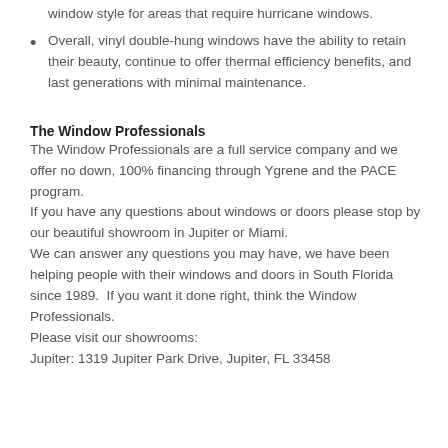window style for areas that require hurricane windows.
Overall, vinyl double-hung windows have the ability to retain their beauty, continue to offer thermal efficiency benefits, and last generations with minimal maintenance.
The Window Professionals
The Window Professionals are a full service company and we offer no down, 100% financing through Ygrene and the PACE program.
If you have any questions about windows or doors please stop by our beautiful showroom in Jupiter or Miami.
We can answer any questions you may have, we have been helping people with their windows and doors in South Florida since 1989.  If you want it done right, think the Window Professionals.
Please visit our showrooms:
Jupiter: 1319 Jupiter Park Drive, Jupiter, FL 33458